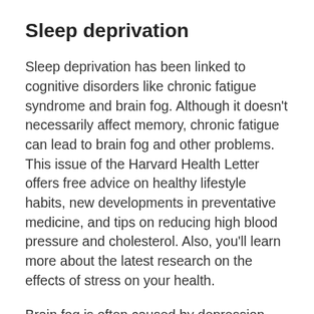Sleep deprivation
Sleep deprivation has been linked to cognitive disorders like chronic fatigue syndrome and brain fog. Although it doesn't necessarily affect memory, chronic fatigue can lead to brain fog and other problems. This issue of the Harvard Health Letter offers free advice on healthy lifestyle habits, new developments in preventative medicine, and tips on reducing high blood pressure and cholesterol. Also, you'll learn more about the latest research on the effects of stress on your health.
Brain fog is often caused by depression. Treatment for this condition usually includes prescribed medication as well as various therapies. A key component of treating